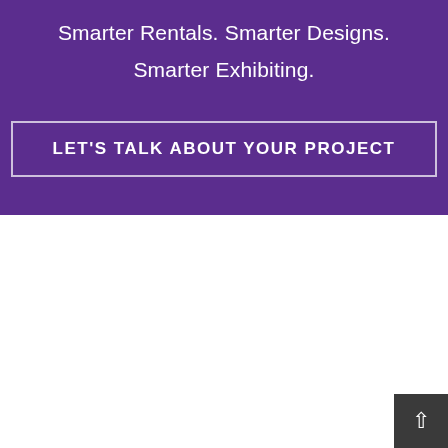Smarter Rentals. Smarter Designs. Smarter Exhibiting.
LET'S TALK ABOUT YOUR PROJECT
ExpoMarketing Group, LLC
2741 Dow Avenue
Tustin, CA 92780